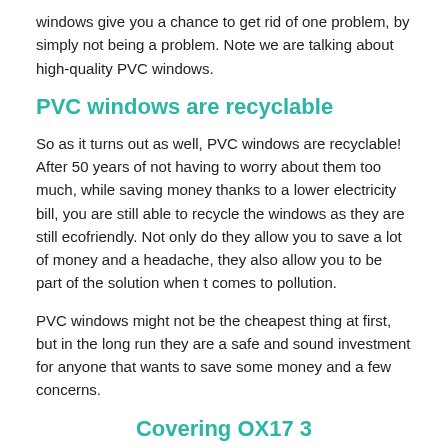windows give you a chance to get rid of one problem, by simply not being a problem. Note we are talking about high-quality PVC windows.
PVC windows are recyclable
So as it turns out as well, PVC windows are recyclable! After 50 years of not having to worry about them too much, while saving money thanks to a lower electricity bill, you are still able to recycle the windows as they are still ecofriendly. Not only do they allow you to save a lot of money and a headache, they also allow you to be part of the solution when t comes to pollution.
PVC windows might not be the cheapest thing at first, but in the long run they are a safe and sound investment for anyone that wants to save some money and a few concerns.
Covering OX17 3
[Figure (screenshot): Google Maps embed showing an error: 'This page can't load Google Maps correctly.']